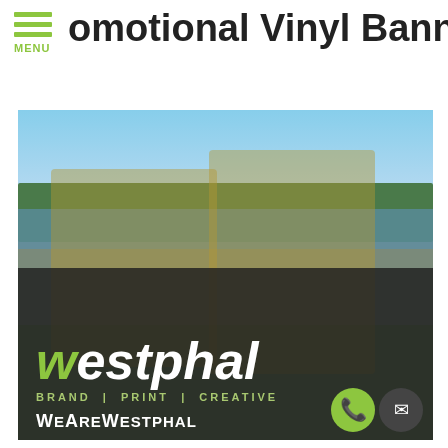MENU
Promotional Vinyl Banners
[Figure (photo): Two men in yellow Lindy fishing jerseys holding award plaques, standing in front of a large Westphal Creative vinyl banner at an outdoor waterfront location. The banner reads 'westphal BRAND | PRINT | CREATIVE WeAreWestphal']